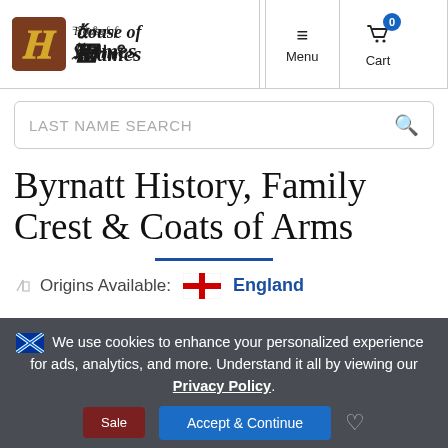House of Names — Menu | Cart (0)
LAST NAME SEARCH
Byrnatt History, Family Crest & Coats of Arms
Origins Available: England
We use cookies to enhance your personalized experience for ads, analytics, and more. Understand it all by viewing our Privacy Policy.
Sale | Accept & Continue